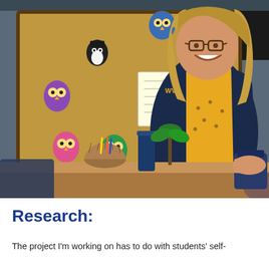[Figure (photo): A woman with long blonde hair and glasses, wearing a yellow patterned blouse and navy blue cardigan with a WV logo, stands smiling in a classroom. Behind her is a bulletin board covered with colorful owl stickers and cutouts. A wooden desk with a blue tumbler and wicker basket is visible in the foreground.]
Research:
The project I'm working on has to do with students' self-